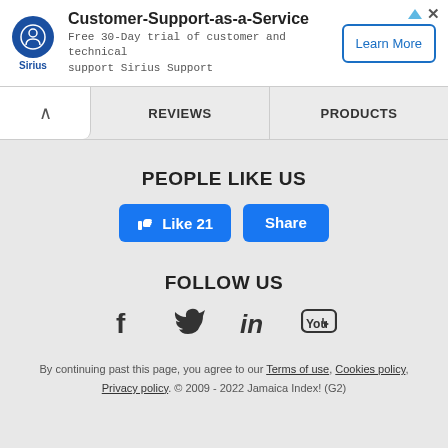[Figure (infographic): Advertisement banner for Sirius Customer-Support-as-a-Service with logo, description text, and Learn More button]
REVIEWS   PRODUCTS
PEOPLE LIKE US
[Figure (infographic): Facebook Like 21 and Share buttons]
FOLLOW US
[Figure (infographic): Social media icons: Facebook, Twitter, LinkedIn, YouTube]
By continuing past this page, you agree to our Terms of use, Cookies policy, Privacy policy. © 2009 - 2022 Jamaica Index! (G2)